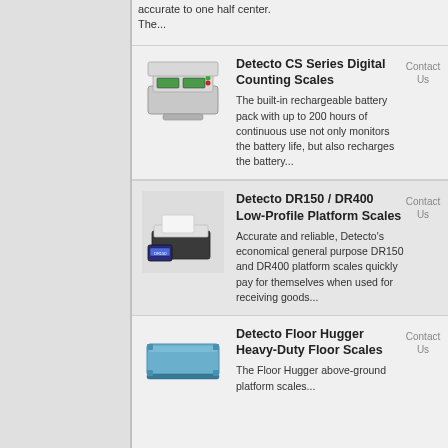accurate to one half center. The...
Detecto CS Series Digital Counting Scales
The built-in rechargeable battery pack with up to 200 hours of continuous use not only monitors the battery life, but also recharges the battery...
[Figure (photo): Photo of Detecto CS Series digital counting scale, a flat platform scale with green LED display and red/green indicator buttons]
Detecto DR150 / DR400 Low-Profile Platform Scales
Accurate and reliable, Detecto's economical general purpose DR150 and DR400 platform scales quickly pay for themselves when used for receiving goods...
[Figure (photo): Photo of Detecto DR150/DR400 low-profile platform scale with separate digital display unit]
Detecto Floor Hugger Heavy-Duty Floor Scales
The Floor Hugger above-ground platform scales...
[Figure (photo): Photo of Detecto Floor Hugger heavy-duty floor scale, a large flat blue platform scale]